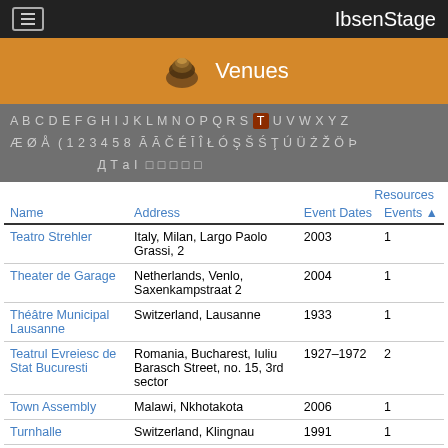IbsenStage
[Figure (logo): IbsenStage Venues banner with decorative theatrical icon]
A B C D E F G H I J K L M N O P Q R S T U V W X Y Z Æ Ø Å ( 1 2 3 4 5 8 Ā Ā Č É Ī Î Ł Ó Ş Š Ś Ţ Ú Ü Ż Ž Ö Þ Д Т а I □ □ □ □ □
| Name | Address | Event Dates | Events ▲ | Resources |
| --- | --- | --- | --- | --- |
| Teatro Strehler | Italy, Milan, Largo Paolo Grassi, 2 | 2003 | 1 |  |
| Theater de Garage | Netherlands, Venlo, Saxenkampstraat 2 | 2004 | 1 |  |
| Théâtre Municipal Lausanne | Switzerland, Lausanne | 1933 | 1 |  |
| Teatrul Evreiesc de Stat Bucuresti | Romania, Bucharest, Iuliu Barasch Street, no. 15, 3rd sector | 1927–1972 | 2 |  |
| Town Assembly | Malawi, Nkhotakota | 2006 | 1 |  |
| Turnhalle | Switzerland, Klingnau | 1991 | 1 |  |